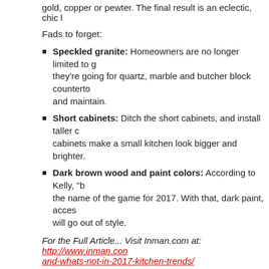gold, copper or pewter. The final result is an eclectic, chic l
Fads to forget:
Speckled granite: Homeowners are no longer limited to granite — they're going for quartz, marble and butcher block countertops that are easier to find and maintain.
Short cabinets: Ditch the short cabinets, and install taller cabinets. Taller cabinets make a small kitchen look bigger and brighter.
Dark brown wood and paint colors: According to Kelly, "bright and light is the name of the game for 2017. With that, dark paint, accessories and décor will go out of style.
For the Full Article... Visit Inman.com at: http://www.inman.com/...and-whats-not-in-2017-kitchen-trends/
What's Hot and What's Not in 2017 Kitchen Trends
Visit Christopher Tenggren's Blog again soon at: http://HomesIn...
#HomesInTheFoxValley